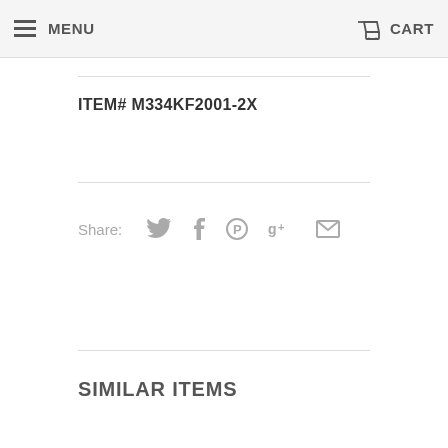MENU  CART
ITEM# M334KF2001-2X
Share:
SIMILAR ITEMS